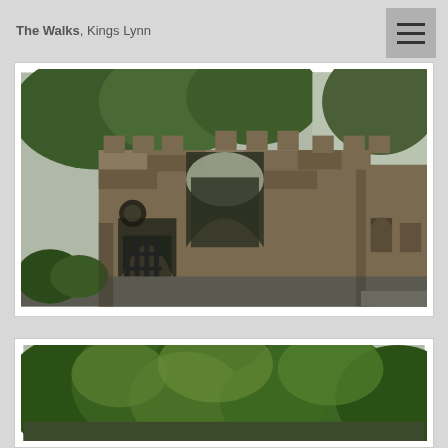The Walks, Kings Lynn
[Figure (photo): Medieval stone gatehouse with large central arch, battlements, smaller side arches and a long stone wall extending to the right, with trees in background. Located at The Walks, Kings Lynn.]
[Figure (photo): Green trees and foliage at The Walks, Kings Lynn, partially visible at bottom of page.]